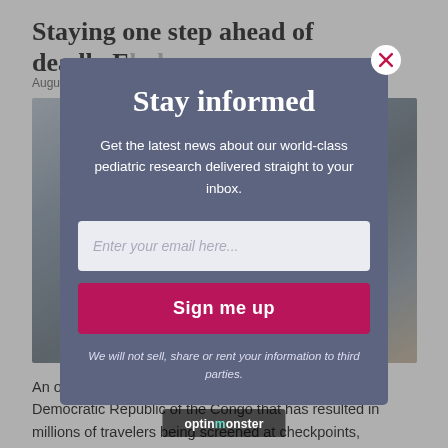Staying one step ahead of deadly Ebola
August
[Figure (photo): Medical/clinical photo, possibly a patient being examined or treated]
Stay informed
Get the latest news about our world-class pediatric research delivered straight to your inbox.
Enter your email here...
Sign me up
We will not sell, share or rent your information to third parties.
An ongoing outbreak of the largest since 2018 in the Democratic Republic of the Congo that has resulted in millions of travelers being screened at checkpoints,